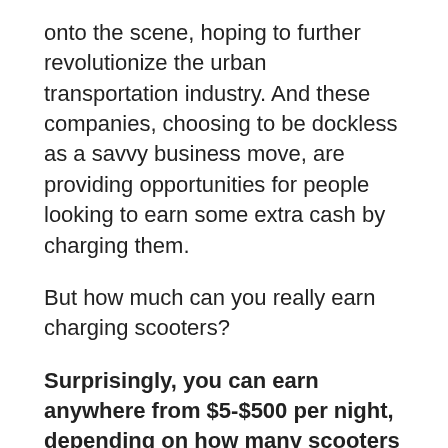onto the scene, hoping to further revolutionize the urban transportation industry. And these companies, choosing to be dockless as a savvy business move, are providing opportunities for people looking to earn some extra cash by charging them.
But how much can you really earn charging scooters?
Surprisingly, you can earn anywhere from $5-$500 per night, depending on how many scooters you pick up to charge and assuming the market isn't over-saturated. Plus, if you return them to their “nests” on time, you can get paid via direct